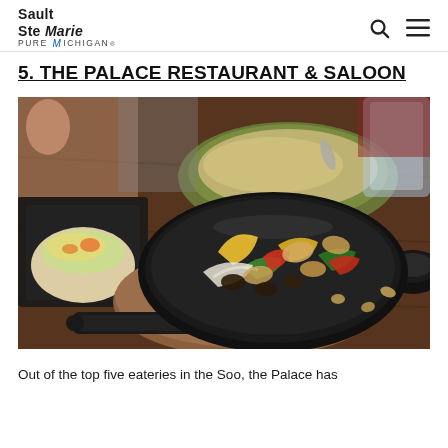Sault Ste Marie PURE MICHIGAN
5. THE PALACE RESTAURANT & SALOON
[Figure (photo): Close-up photo of restaurant food on a table: a cast-iron skillet sizzler with chicken fajita mix (peppers, onions, chicken), an open-faced taco on a small plate at left, a green oval bowl with rice/casserole in background, and a small black bowl at right edge. Set on a dark wooden restaurant table.]
Out of the top five eateries in the Soo, the Palace has